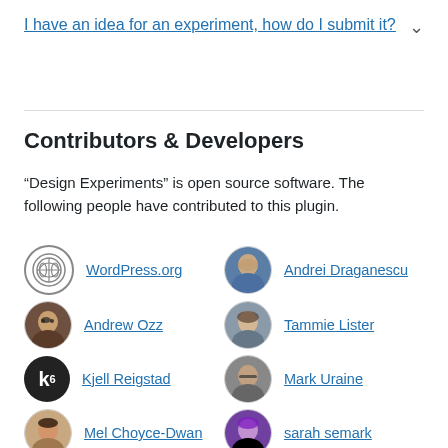I have an idea for an experiment, how do I submit it?
Contributors & Developers
"Design Experiments" is open source software. The following people have contributed to this plugin.
WordPress.org
Andrei Draganescu
Andrew Ozz
Tammie Lister
Kjell Reigstad
Mark Uraine
Mel Choyce-Dwan
sarah semark